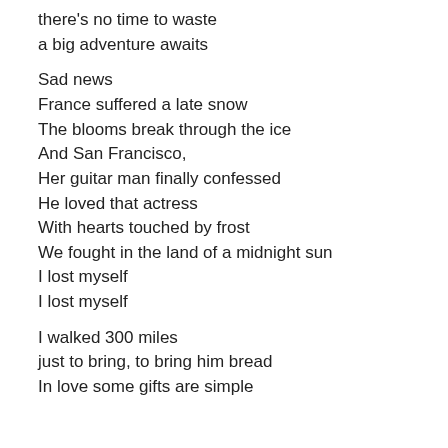there's no time to waste
a big adventure awaits

Sad news
France suffered a late snow
The blooms break through the ice
And San Francisco,
Her guitar man finally confessed
He loved that actress
With hearts touched by frost
We fought in the land of a midnight sun
I lost myself
I lost myself

I walked 300 miles
just to bring, to bring him bread
In love some gifts are simple